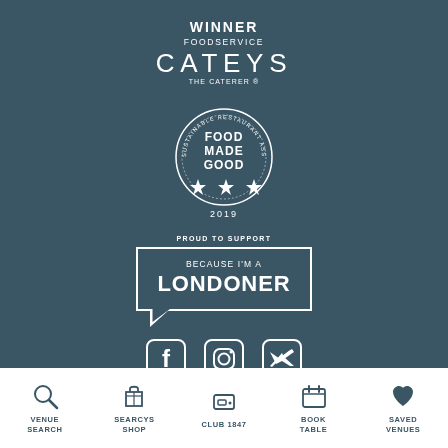[Figure (logo): Winner Foodservice Cateys The Caterer award badge]
[Figure (logo): Food Made Good 2019 - Sustainable Restaurant Association badge with 3 stars]
[Figure (logo): Proud to Support Because I'm a Londoner badge]
[Figure (logo): Social media icons: Facebook, Instagram, Twitter]
[Figure (infographic): Footer navigation bar with icons: Venue Search, Searcys Shop, Club 1847, Book Table, Saved Venues]